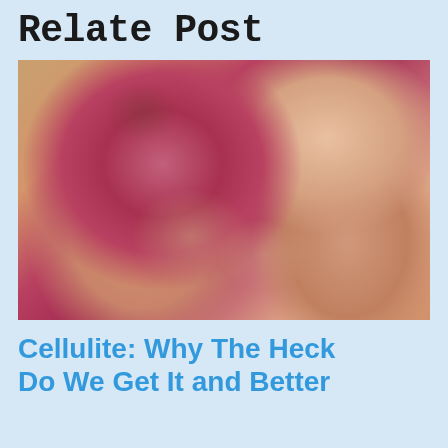Relate Post
[Figure (photo): Close-up photo of a person wearing pink/red underwear, with hands pinching cellulite on the thigh/buttock area, showing dimpled skin texture. Background shows a wooden or stone-textured wall.]
Cellulite: Why The Heck Do We Get It and Better